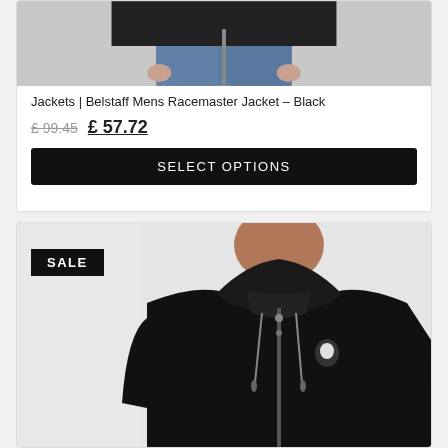[Figure (photo): Product photo of Belstaff Mens Racemaster Jacket in Black, showing lower torso with jeans]
Jackets | Belstaff Mens Racemaster Jacket – Black
£ 99.45  £ 57.72
SELECT OPTIONS
[Figure (photo): Product photo of a man wearing a black zip-up hoodie with white logo, SALE badge visible]
SALE